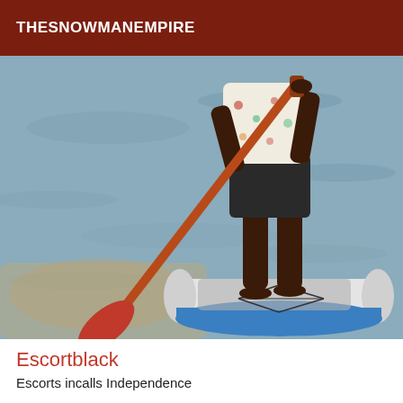THESNOWMANEMPIRE
[Figure (photo): Person standing on a white and blue inflatable paddleboard on shallow water, holding a red/orange paddle. The person is wearing dark shorts and a floral top, barefoot on the board. The board has a bungee cord system on the back.]
Escortblack
Escorts incalls Independence